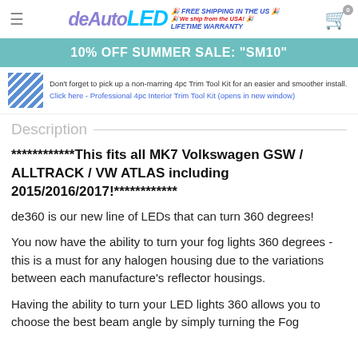deAutoLED — FREE SHIPPING IN THE US | We ship from the USA | LIFETIME WARRANTY
10% OFF SUMMER SALE: "SM10"
Don't forget to pick up a non-marring 4pc Trim Tool Kit for an easier and smoother install. Click here - Professional 4pc Interior Trim Tool Kit (opens in new window)
Description
************This fits all MK7 Volkswagen GSW / ALLTRACK / VW ATLAS including 2015/2016/2017!************
de360 is our new line of LEDs that can turn 360 degrees!
You now have the ability to turn your fog lights 360 degrees - this is a must for any halogen housing due to the variations between each manufacture's reflector housings.
Having the ability to turn your LED lights 360 allows you to choose the best beam angle by simply turning the Fog